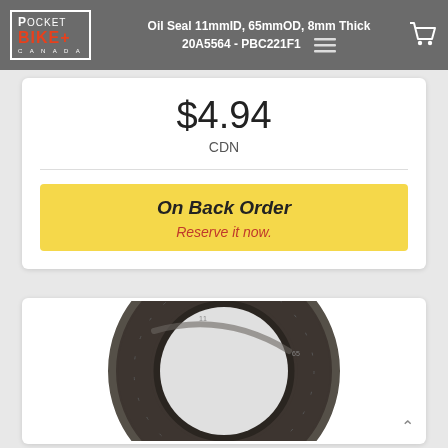Oil Seal 11mmID, 65mmOD, 8mm Thick 20A5564 - PBC221F1
$4.94
CDN
On Back Order
Reserve it now.
[Figure (photo): Photo of an oil seal ring, dark grey/black rubber, circular with outer and inner rings, viewed from above.]